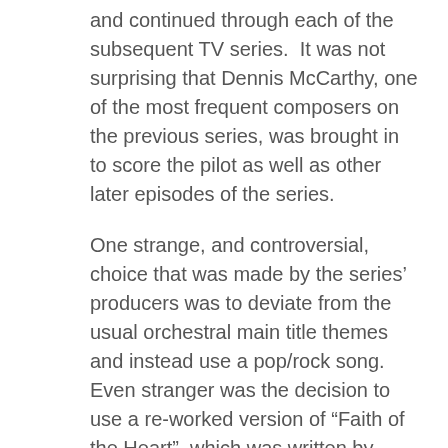and continued through each of the subsequent TV series.  It was not surprising that Dennis McCarthy, one of the most frequent composers on the previous series, was brought in to score the pilot as well as other later episodes of the series.
One strange, and controversial, choice that was made by the series' producers was to deviate from the usual orchestral main title themes and instead use a pop/rock song.  Even stranger was the decision to use a re-worked version of “Faith of the Heart”, which was written by Diane Warren and performed by Rod Stewart for the movie Patch Adams.
The version of the song used for “Enterprise” was re-titled “Where My Heart Will Take Me” and performed by Russell Watson, essentially copying Stewart’s